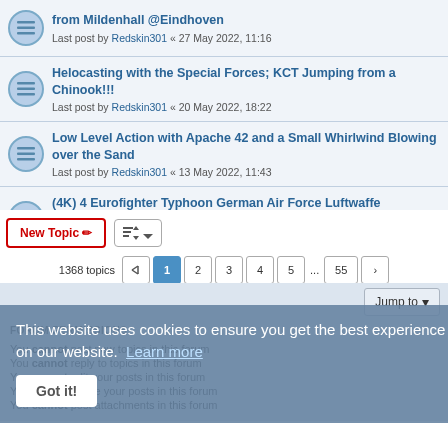from Mildenhall @Eindhoven — Last post by Redskin301 « 27 May 2022, 11:16
Helocasting with the Special Forces; KCT Jumping from a Chinook!!! — Last post by Redskin301 « 20 May 2022, 18:22
Low Level Action with Apache 42 and a Small Whirlwind Blowing over the Sand — Last post by Redskin301 « 13 May 2022, 11:43
(4K) 4 Eurofighter Typhoon German Air Force Luftwaffe departure Neuburg Donau Airbase — Last post by MUC-Spotter « 11 May 2022, 22:24
New Topic  |  Sort  |  1368 topics  |  1 2 3 4 5 ... 55
This website uses cookies to ensure you get the best experience on our website. Learn more  Got it!
FORUM PERMISSIONS
You cannot post new topics in this forum
You cannot reply to topics in this forum
You cannot edit your posts in this forum
You cannot delete your posts in this forum
You cannot post attachments in this forum